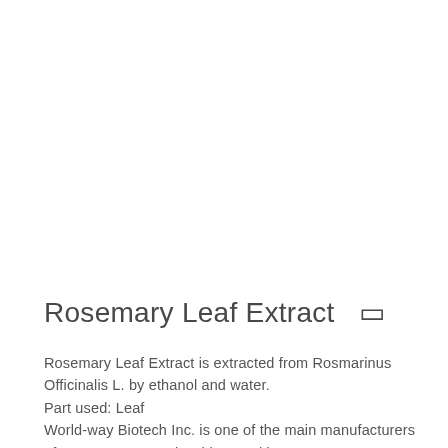Rosemary Leaf Extract  🌿
Rosemary Leaf Extract is extracted from Rosmarinus Officinalis L. by ethanol and water.
Part used: Leaf
World-way Biotech Inc. is one of the main manufacturers of rosemary extract in China, and has